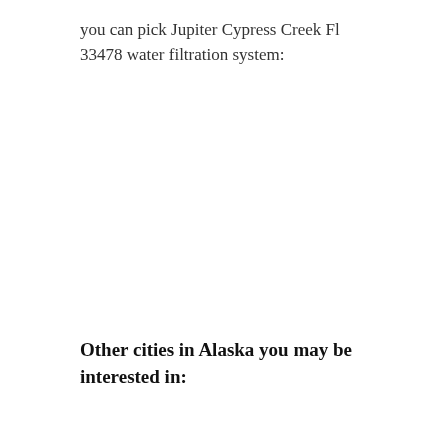you can pick Jupiter Cypress Creek Fl 33478 water filtration system:
Other cities in Alaska you may be interested in: